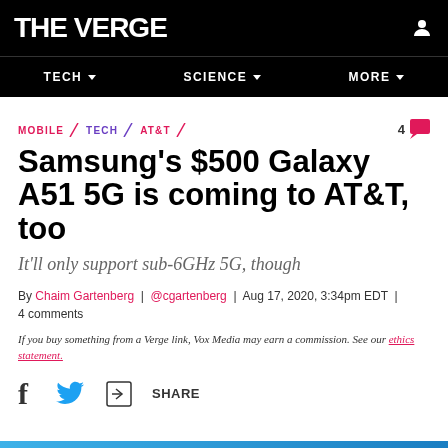THE VERGE
TECH | SCIENCE | MORE
MOBILE \ TECH \ AT&T
Samsung's $500 Galaxy A51 5G is coming to AT&T, too
It'll only support sub-6GHz 5G, though
By Chaim Gartenberg | @cgartenberg | Aug 17, 2020, 3:34pm EDT | 4 comments
If you buy something from a Verge link, Vox Media may earn a commission. See our ethics statement.
SHARE